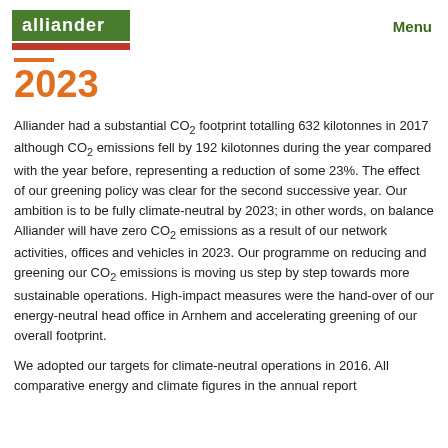alliander   Menu
2023
Alliander had a substantial CO2 footprint totalling 632 kilotonnes in 2017 although CO2 emissions fell by 192 kilotonnes during the year compared with the year before, representing a reduction of some 23%. The effect of our greening policy was clear for the second successive year. Our ambition is to be fully climate-neutral by 2023; in other words, on balance Alliander will have zero CO2 emissions as a result of our network activities, offices and vehicles in 2023. Our programme on reducing and greening our CO2 emissions is moving us step by step towards more sustainable operations. High-impact measures were the hand-over of our energy-neutral head office in Arnhem and accelerating greening of our overall footprint.
We adopted our targets for climate-neutral operations in 2016. All comparative energy and climate figures in the annual report